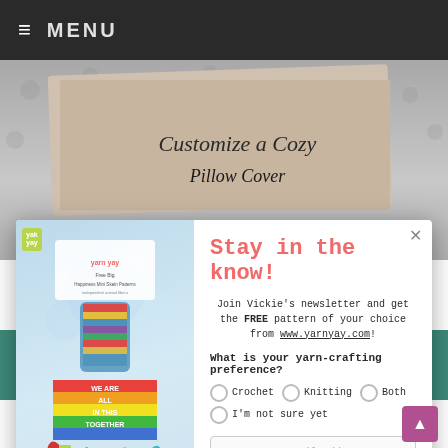≡ MENU
[Figure (photo): Background image showing knitting/crochet content with cursive text overlay 'Customize a Cozy']
[Figure (photo): Newsletter popup overlay with yarn product photo on left (colorful yarn skeins, rainbow 'WE ARE ALL IN THIS TOGETHER' sign, yarn yay branding) and form on right]
Stay in the know!
Join Vickie's newsletter and get the FREE pattern of your choice from www.yarnyay.com!
What is your yarn-crafting preference?
Crochet
Knitting
Both
I'm not sure yet
Enter your email address
Claim your FREE pattern!
Using the above formula, CO appropriate number of stitches (ex-